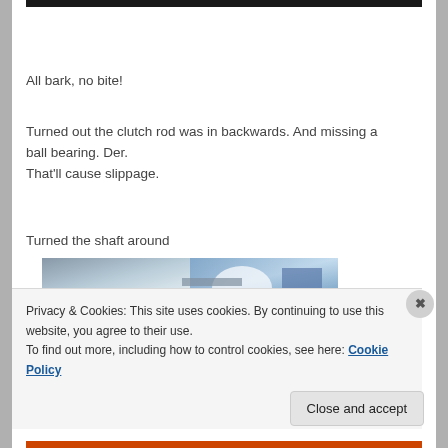[Figure (photo): Dark background banner image at top of page, partially visible]
All bark, no bite!
Turned out the clutch rod was in backwards. And missing a ball bearing. Der.
That'll cause slippage.
Turned the shaft around
[Figure (photo): Close-up photograph of a mechanical shaft/clutch component, metallic parts visible with light reflections]
Privacy & Cookies: This site uses cookies. By continuing to use this website, you agree to their use.
To find out more, including how to control cookies, see here: Cookie Policy
Close and accept